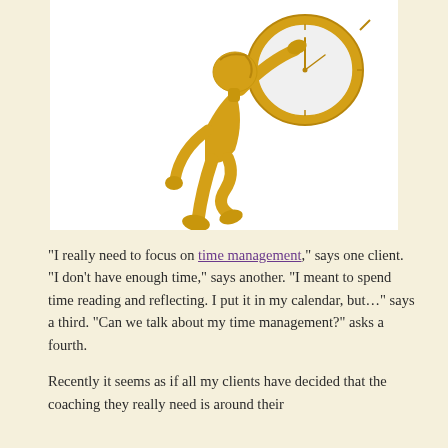[Figure (illustration): A golden 3D figurine character holding and looking at a large clock/watch, shown from the torso up, on a white background.]
"I really need to focus on time management," says one client. "I don't have enough time," says another. "I meant to spend time reading and reflecting. I put it in my calendar, but..." says a third. "Can we talk about my time management?" asks a fourth.
Recently it seems as if all my clients have decided that the coaching they really need is around their